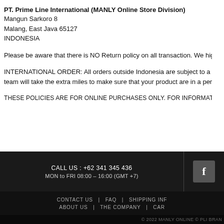PT. Prime Line International (MANLY Online Store Division)
Mangun Sarkoro 8
Malang, East Java 65127
INDONESIA
Please be aware that there is NO Return policy on all transaction. We highly
INTERNATIONAL ORDER: All orders outside Indonesia are subject to a NO
team will take the extra miles to make sure that your product are in a perfe
THESE POLICIES ARE FOR ONLINE PURCHASES ONLY. FOR INFORMATION REGARDING OUR I
CALL US : +62 341 345 436
MON to FRI 08:00 - 16:00 (GMT +7)
CONTACT US  |  FAQ  |  SHIPPING INF
ABOUT US  |  THE COMPANY  |  CA
© 2022 MANLY ONLINE © PLI BRAN